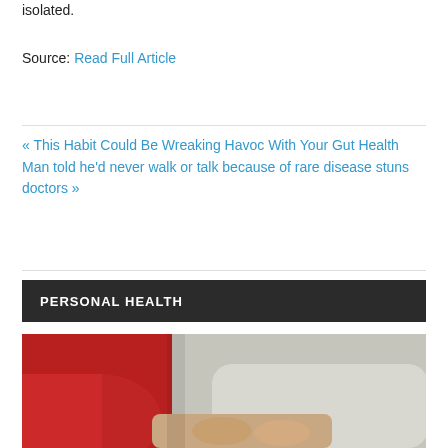isolated.
Source: Read Full Article
« This Habit Could Be Wreaking Havoc With Your Gut Health
Man told he'd never walk or talk because of rare disease stuns doctors »
PERSONAL HEALTH
[Figure (photo): Two people sitting together, one in a red top and one in a grey/light blue top, appearing to be in a medical or personal health consultation setting.]